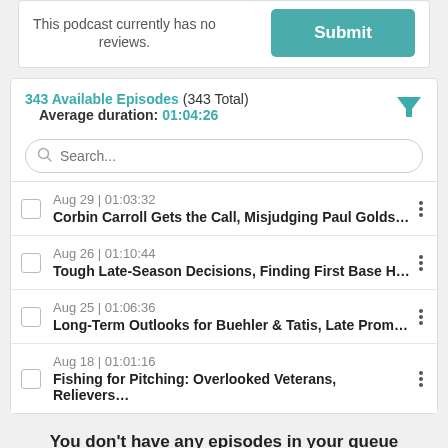This podcast currently has no reviews.
Submit
343 Available Episodes (343 Total)
Average duration: 01:04:26
Search...
Aug 29 | 01:03:32
Corbin Carroll Gets the Call, Misjudging Paul Golds…
Aug 26 | 01:10:44
Tough Late-Season Decisions, Finding First Base H…
Aug 25 | 01:06:36
Long-Term Outlooks for Buehler & Tatis, Late Prom…
Aug 18 | 01:01:16
Fishing for Pitching: Overlooked Veterans, Relievers…
You don't have any episodes in your queue
Start to listen to an episode